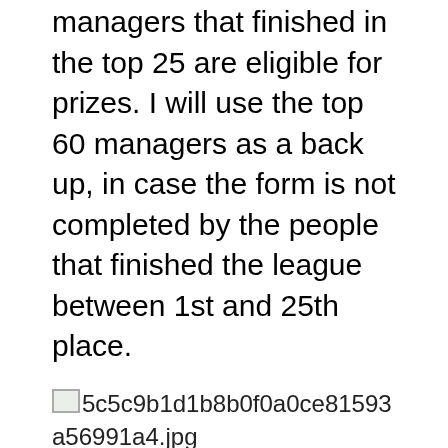managers that finished in the top 25 are eligible for prizes. I will use the top 60 managers as a back up, in case the form is not completed by the people that finished the league between 1st and 25th place.
[Figure (photo): Broken image placeholder showing filename: 5c5c9b1d1b8b0f0a0ce81593a56991a4.jpg]
The KONRA Premier League Fantasy Football 2021-2022 Tournament ended but more fun is planned for 2022-2023. The wallet looked much better few weeks ago but the bear marked made it shrink